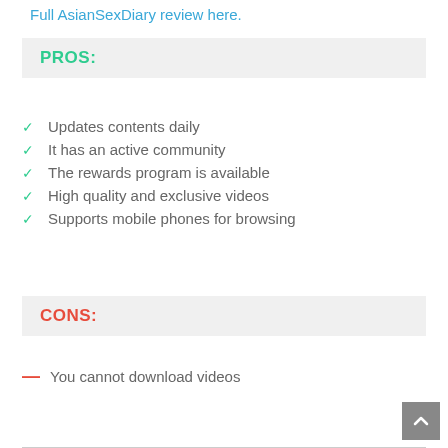Full AsianSexDiary review here.
PROS:
Updates contents daily
It has an active community
The rewards program is available
High quality and exclusive videos
Supports mobile phones for browsing
CONS:
You cannot download videos